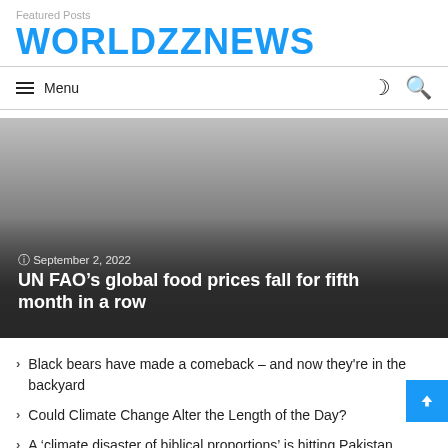Featured Posts
WORLDZZNEWS
Menu
[Figure (photo): Hero image with dark gradient overlay showing news article. Date: September 2, 2022. Headline: UN FAO's global food prices fall for fifth month in a row]
Black bears have made a comeback – and now they're in the backyard
Could Climate Change Alter the Length of the Day?
A 'climate disaster of biblical proportions' is hitting Pakistan, official says